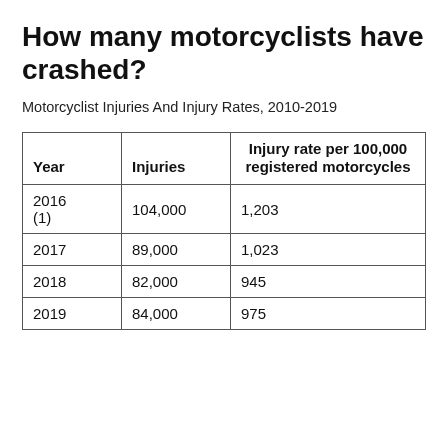How many motorcyclists have crashed?
Motorcyclist Injuries And Injury Rates, 2010-2019
| Year | Injuries | Injury rate per 100,000 registered motorcycles |
| --- | --- | --- |
| 2016 (1) | 104,000 | 1,203 |
| 2017 | 89,000 | 1,023 |
| 2018 | 82,000 | 945 |
| 2019 | 84,000 | 975 |